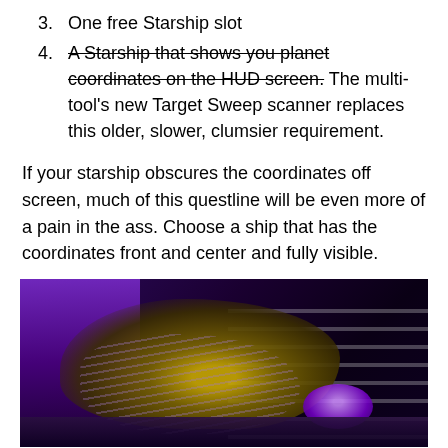3. One free Starship slot
4. A Starship that shows you planet coordinates on the HUD screen. [strikethrough] The multi-tool's new Target Sweep scanner replaces this older, slower, clumsier requirement.
If your starship obscures the coordinates off screen, much of this questline will be even more of a pain in the ass. Choose a ship that has the coordinates front and center and fully visible.
[Figure (screenshot): Screenshot from a sci-fi video game (No Man's Sky) showing a purple and gold alien starship inside a space station hangar with purple lighting, glowing gem shape, and horizontal light strips on the right wall.]